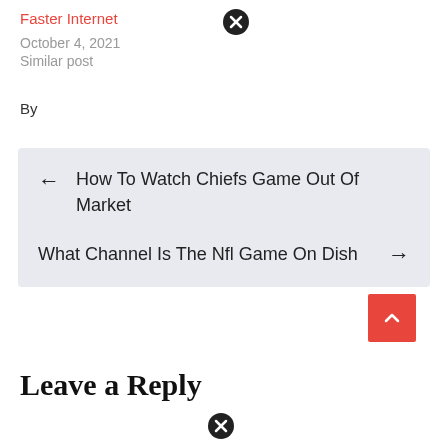Faster Internet
October 4, 2021
Similar post
By
← How To Watch Chiefs Game Out Of Market
What Channel Is The Nfl Game On Dish →
Leave a Reply